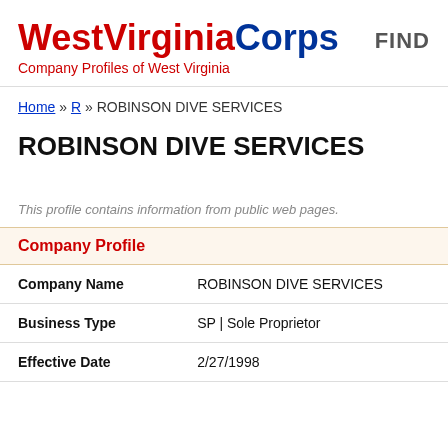WestVirginiaCorps – Company Profiles of West Virginia | FIND
Home » R » ROBINSON DIVE SERVICES
ROBINSON DIVE SERVICES
This profile contains information from public web pages.
Company Profile
| Field | Value |
| --- | --- |
| Company Name | ROBINSON DIVE SERVICES |
| Business Type | SP | Sole Proprietor |
| Effective Date | 2/27/1998 |